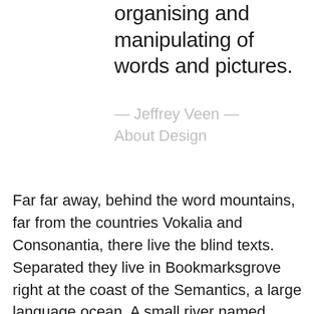organising and manipulating of words and pictures.
— Jeffrey Veen — About Design
Far far away, behind the word mountains, far from the countries Vokalia and Consonantia, there live the blind texts. Separated they live in Bookmarksgrove right at the coast of the Semantics, a large language ocean. A small river named Duden